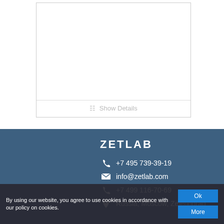[Figure (screenshot): A white card/panel with a horizontal rule and 'Show Details' link at the bottom]
Show Details
ZETLAB
+7 495 739-39-19
info@zetlab.com
+7 499 116-70-69
Russia, Moscow, Zelenograd
By using our website, you agree to use cookies in accordance with our policy on cookies.